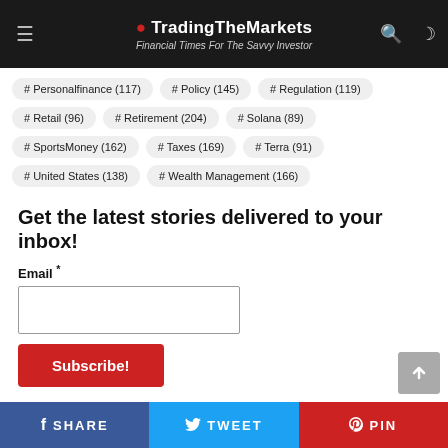🔴 TradingTheMarkets — Financial Times For The Savvy Investor
# Personalfinance (117)
# Policy (145)
# Regulation (119)
# Retail (96)
# Retirement (204)
# Solana (89)
# SportsMoney (162)
# Taxes (169)
# Terra (91)
# United States (138)
# Wealth Management (166)
Get the latest stories delivered to your inbox!
Email *
SHARE  TWEET  PIN